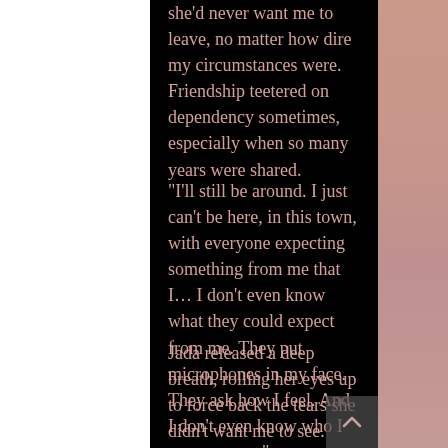she'd never want me to leave, no matter how dire my circumstances were. Friendship teetered on dependency sometimes, especially when so many years were shared.
“I’ll still be around. I just can’t be here, in this town, with everyone expecting something from me that I… I don’t even know what they could expect from me. They put microphones in my face. They ask how I feel. And I don’t even know who I am anymore.”
Jada released a deep breath, rolling her eyes up to force back the tears she didn’t want me to see. They were there, just on the edge, like they were in every other set of woeful eyes that’d watched me